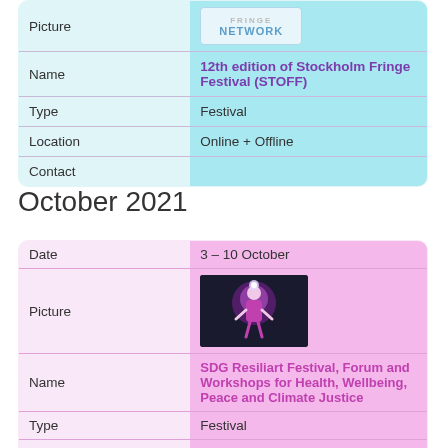|  |  |
| --- | --- |
| Picture | FRINGE NETWORK logo |
| Name | 12th edition of Stockholm Fringe Festival (STOFF) |
| Type | Festival |
| Location | Online + Offline |
| Contact |  |
October 2021
|  |  |
| --- | --- |
| Date | 3 – 10 October |
| Picture | [event image] |
| Name | SDG Resiliart Festival, Forum and Workshops for Health, Wellbeing, Peace and Climate Justice |
| Type | Festival |
| Location | Manila, Philippines |
| Contact |  |
| Date | 6 – 20 October |
| Picture | Baltic House logo |